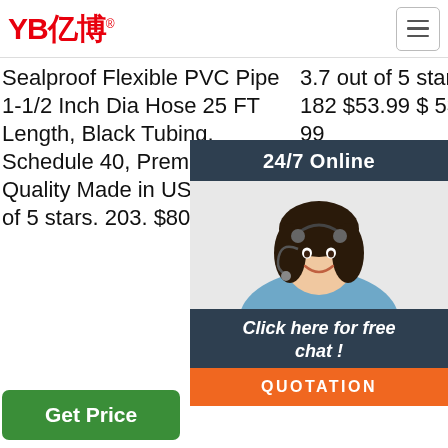YB亿博 (logo) | hamburger menu
Sealproof Flexible PVC Pipe 1-1/2 Inch Dia Hose 25 FT Length, Black Tubing, Schedule 40, Premium Quality Made in USA. 4.6 out of 5 stars. 203. $80.99.
Get Price
3.7 out of 5 stars 182 $53.99 $ 53 . 99
Get Price
is a staple for gardening. However, the of varieties available on man might confuse some of somewhat. Normal you dep these rubb confusion will turn into vapor forever.
[Figure (photo): 24/7 Online chat overlay with customer service agent photo, 'Click here for free chat!' text, and orange QUOTATION button]
[Figure (other): TOP navigation icon in orange/red dots with 'TOP' text]
Get Price